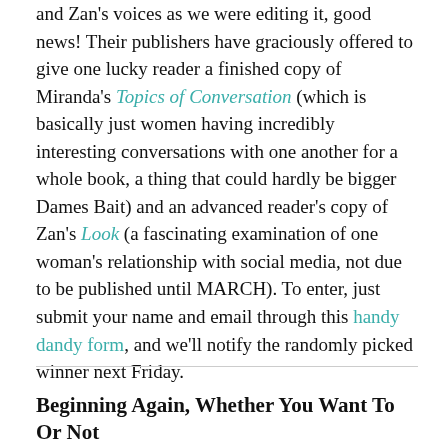and Zan's voices as we were editing it, good news! Their publishers have graciously offered to give one lucky reader a finished copy of Miranda's Topics of Conversation (which is basically just women having incredibly interesting conversations with one another for a whole book, a thing that could hardly be bigger Dames Bait) and an advanced reader's copy of Zan's Look (a fascinating examination of one woman's relationship with social media, not due to be published until MARCH). To enter, just submit your name and email through this handy dandy form, and we'll notify the randomly picked winner next Friday.
Beginning Again, Whether You Want To Or Not